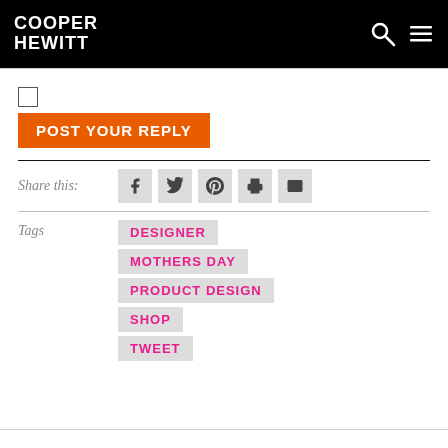COOPER HEWITT
POST YOUR REPLY
Share this:
Tags
DESIGNER
MOTHERS DAY
PRODUCT DESIGN
SHOP
TWEET